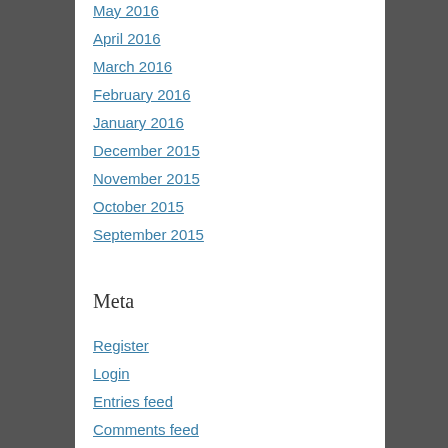May 2016
April 2016
March 2016
February 2016
January 2016
December 2015
November 2015
October 2015
September 2015
Meta
Register
Login
Entries feed
Comments feed
WordPress.com